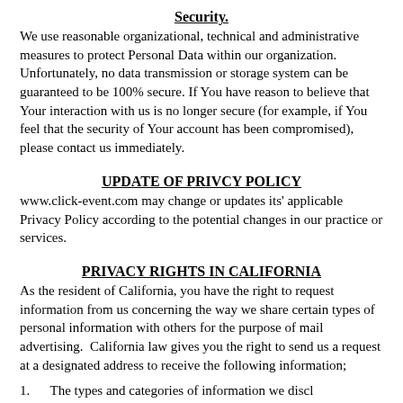Security.
We use reasonable organizational, technical and administrative measures to protect Personal Data within our organization. Unfortunately, no data transmission or storage system can be guaranteed to be 100% secure. If You have reason to believe that Your interaction with us is no longer secure (for example, if You feel that the security of Your account has been compromised), please contact us immediately.
UPDATE OF PRIVCY POLICY
www.click-event.com may change or updates its' applicable Privacy Policy according to the potential changes in our practice or services.
PRIVACY RIGHTS IN CALIFORNIA
As the resident of California, you have the right to request information from us concerning the way we share certain types of personal information with others for the purpose of mail advertising.  California law gives you the right to send us a request at a designated address to receive the following information;
1.      The types and categories of information we disclosed